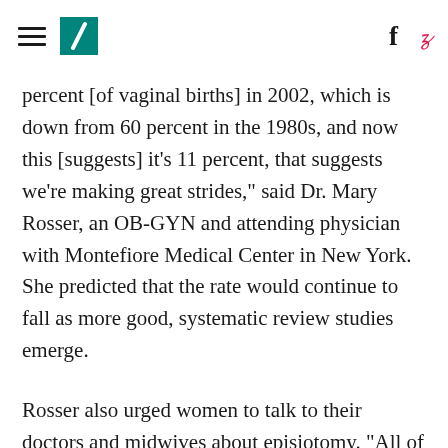[hamburger menu] [HuffPost logo] [Facebook icon] [Twitter icon]
percent [of vaginal births] in 2002, which is down from 60 percent in the 1980s, and now this [suggests] it's 11 percent, that suggests we're making great strides," said Dr. Mary Rosser, an OB-GYN and attending physician with Montefiore Medical Center in New York. She predicted that the rate would continue to fall as more good, systematic review studies emerge.
Rosser also urged women to talk to their doctors and midwives about episiotomy. "All of this information needs to be discussed during pregnancy, so women and their partners have a good talk with their providers about what they think about routine versus restricted use," she said.